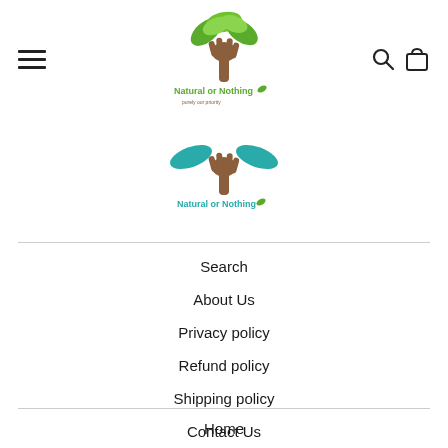[Figure (logo): Natural or Nothing logo with green leaves and brown hand/tree trunk, full color version]
[Figure (logo): Natural or Nothing logo simplified version with teal leaves and brown hand/tree trunk]
Search
About Us
Privacy policy
Refund policy
Shipping policy
Contact Us
Home